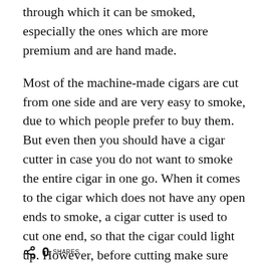through which it can be smoked, especially the ones which are more premium and are hand made.
Most of the machine-made cigars are cut from one side and are very easy to smoke, due to which people prefer to buy them. But even then you should have a cigar cutter in case you do not want to smoke the entire cigar in one go. When it comes to the cigar which does not have any open ends to smoke, a cigar cutter is used to cut one end, so that the cigar could light up. However, before cutting make sure that you do not cut too much of the end at once. Cutting too much will affect the wrapper of the cigar and it will
0 SHARES